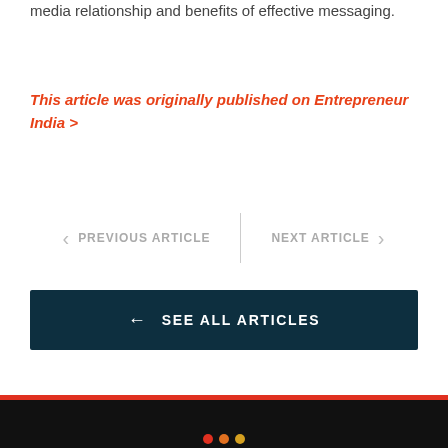media relationship and benefits of effective messaging.
This article was originally published on Entrepreneur India >
< PREVIOUS ARTICLE
NEXT ARTICLE >
← SEE ALL ARTICLES